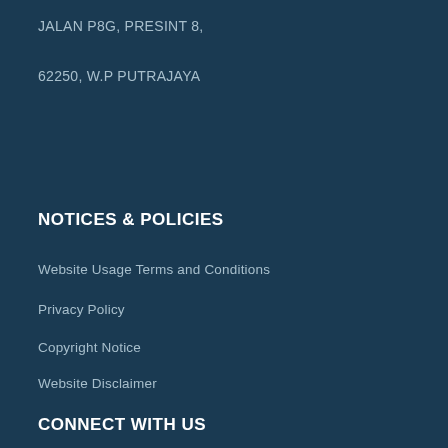JALAN P8G, PRESINT 8,
62250, W.P PUTRAJAYA
NOTICES & POLICIES
Website Usage Terms and Conditions
Privacy Policy
Copyright Notice
Website Disclaimer
CONNECT WITH US